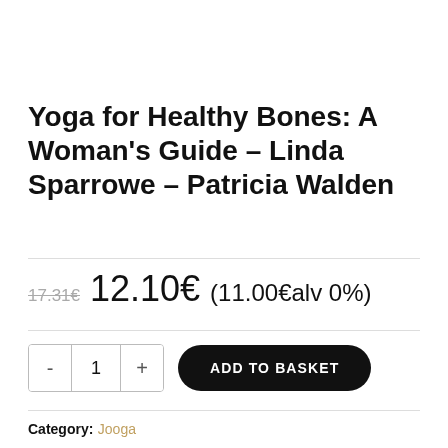Yoga for Healthy Bones: A Woman's Guide – Linda Sparrowe – Patricia Walden
17.31€  12.10€  (11.00€alv 0%)
- 1 + ADD TO BASKET
Category: Jooga